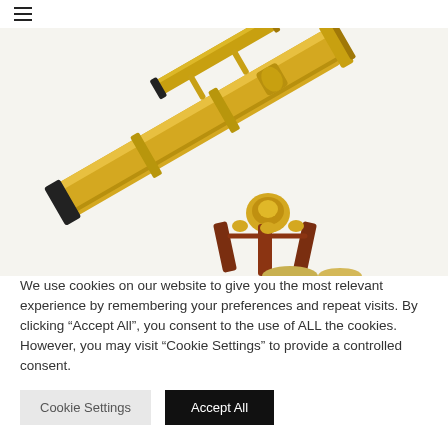[Figure (photo): A brass telescope on a wooden tripod, photographed against a white background. The telescope is angled diagonally upper-left to lower-right, with a small finder scope attached. The tripod has dark reddish-brown wooden legs.]
We use cookies on our website to give you the most relevant experience by remembering your preferences and repeat visits. By clicking “Accept All”, you consent to the use of ALL the cookies. However, you may visit “Cookie Settings” to provide a controlled consent.
Cookie Settings
Accept All